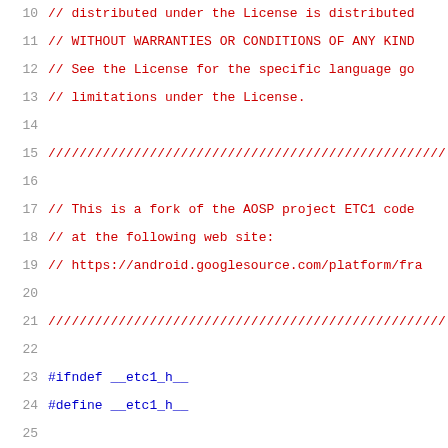10  // distributed under the License is distributed
11  // WITHOUT WARRANTIES OR CONDITIONS OF ANY KIND
12  // See the License for the specific language go
13  // limitations under the License.
14
15  ///////////////////////////////////////////////////
16
17  // This is a fork of the AOSP project ETC1 code
18  // at the following web site:
19  // https://android.googlesource.com/platform/fr
20
21  ///////////////////////////////////////////////////
22
23  #ifndef __etc1_h__
24  #define __etc1_h__
25
26  #define ETC1_ENCODED_BLOCK_SIZE 8
27  #define ETC1_DECODED_BLOCK_SIZE 48
28
29  #ifndef ETC1_RGB8_OES
30  #define ETC1_RGB8_OES 0x8D64
31  #endif